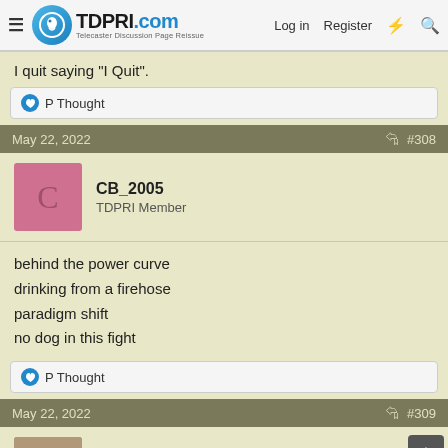TDPRI.com – Telecaster Discussion Page Reissue | Log in | Register
I quit saying "I Quit".
👍 P Thought
May 22, 2022  #308
CB_2005
TDPRI Member
behind the power curve
drinking from a firehose
paradigm shift
no dog in this fight
👍 P Thought
May 22, 2022  #309
Toto'sDad
Tele Axpert  Ad Free Member